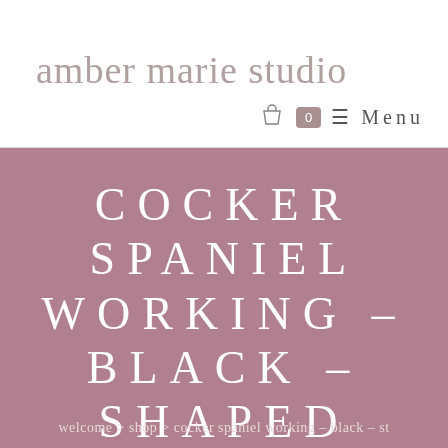amber marie studio
🛍 0  ☰  Menu
COCKER SPANIEL WORKING – BLACK – SHAPED STICKERS
welcome > shop > cocker spaniel working – black – st